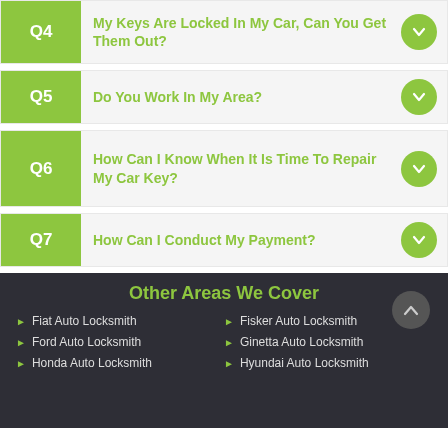Q4 My Keys Are Locked In My Car, Can You Get Them Out?
Q5 Do You Work In My Area?
Q6 How Can I Know When It Is Time To Repair My Car Key?
Q7 How Can I Conduct My Payment?
Other Areas We Cover
Fiat Auto Locksmith
Fisker Auto Locksmith
Ford Auto Locksmith
Ginetta Auto Locksmith
Honda Auto Locksmith
Hyundai Auto Locksmith